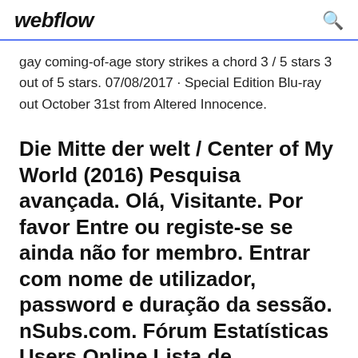webflow
gay coming-of-age story strikes a chord 3 / 5 stars 3 out of 5 stars. 07/08/2017 · Special Edition Blu-ray out October 31st from Altered Innocence.
Die Mitte der welt / Center of My World (2016) Pesquisa avançada. Olá, Visitante. Por favor Entre ou registe-se se ainda não for membro. Entrar com nome de utilizador, password e duração da sessão. nSubs.com. Fórum Estatísticas Users Online Lista de